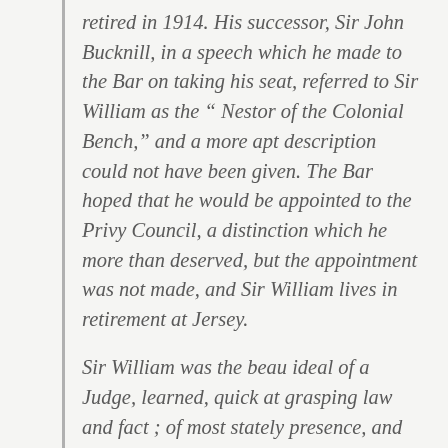retired in 1914. His successor, Sir John Bucknill, in a speech which he made to the Bar on taking his seat, referred to Sir William as the “ Nestor of the Colonial Bench,” and a more apt description could not have been given. The Bar hoped that he would be appointed to the Privy Council, a distinction which he more than deserved, but the appointment was not made, and Sir William lives in retirement at Jersey.
Sir William was the beau ideal of a Judge, learned, quick at grasping law and fact ; of most stately presence, and possessed of a